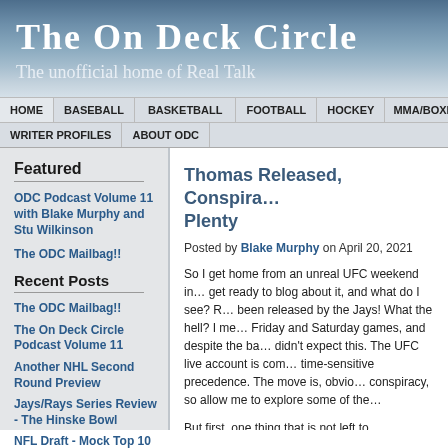The On Deck Circle
The unofficial home of Real Talk
HOME | BASEBALL | BASKETBALL | FOOTBALL | HOCKEY | MMA/BOXING | WRITER PROFILES | ABOUT ODC
Featured
ODC Podcast Volume 11 with Blake Murphy and Stu Wilkinson
The ODC Mailbag!!
Recent Posts
The ODC Mailbag!!
The On Deck Circle Podcast Volume 11
Another NHL Second Round Preview
Jays/Rays Series Review - The Hinske Bowl
NFL Draft - Mock Top 10
Thomas Released, Consipra... Plenty
Posted by Blake Murphy on April 20, 2021
So I get home from an unreal UFC weekend in... get ready to blog about it, and what do I see? R... been released by the Jays! What the hell? I me... Friday and Saturday games, and despite the ba... didn't expect this. The UFC live account is com... time-sensitive precedence. The move is, obvio... conspiracy, so allow me to explore some of the...
But first, one thing that is not left to interpretatio... should have been made after Scott Rolen retur... today, Rod Barajas is DHing and batting fifth a...